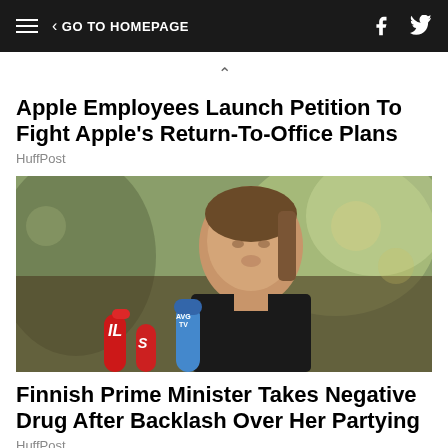GO TO HOMEPAGE
Apple Employees Launch Petition To Fight Apple's Return-To-Office Plans
HuffPost
[Figure (photo): A woman speaking at a press conference with multiple microphones including IL and S branded mics, outdoors with trees in background]
Finnish Prime Minister Takes Negative Drug After Backlash Over Her Partying
HuffPost